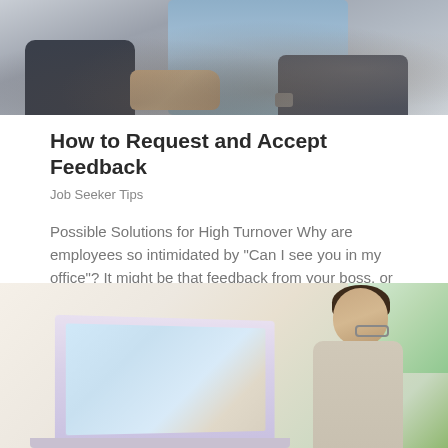[Figure (photo): Two people in business attire sitting at a table, one in a dark suit, hands clasped, discussing something]
How to Request and Accept Feedback
Job Seeker Tips
Possible Solutions for High Turnover Why are employees so intimidated by "Can I see you in my office"? It might be that feedback from your boss, or even your friends …
Read More →
[Figure (photo): Woman with glasses working on a laptop computer at home, window with green trees visible in the background]